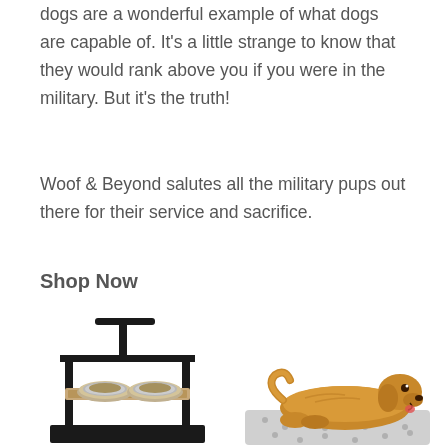dogs are a wonderful example of what dogs are capable of. It's a little strange to know that they would rank above you if you were in the military. But it's the truth!
Woof & Beyond salutes all the military pups out there for their service and sacrifice.
Shop Now
[Figure (photo): Elevated dog feeder stand with two stainless steel bowls on a wooden tray with black metal frame and drip tray]
[Figure (photo): Golden retriever dog lying on a grey patterned mat/rug]